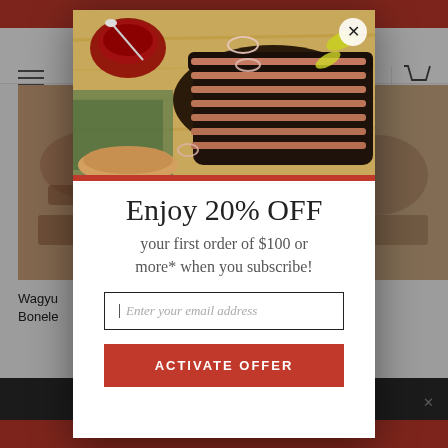[Figure (screenshot): Website background showing a BBQ/meat online store with red header/footer bars, navigation bar with hamburger menu and cart icon, product images of wagyu beef, and a dark bottom bar.]
[Figure (photo): Popup modal hero image showing sliced BBQ brisket on a cutting board with sauce, onion rings, and peppers.]
Enjoy 20% OFF
your first order of $100 or more* when you subscribe!
Enter your email address
ACTIVATE OFFER